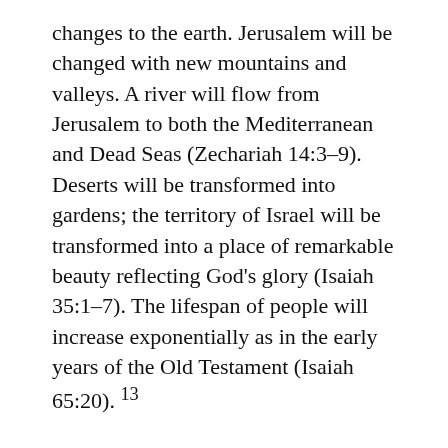changes to the earth. Jerusalem will be changed with new mountains and valleys. A river will flow from Jerusalem to both the Mediterranean and Dead Seas (Zechariah 14:3–9). Deserts will be transformed into gardens; the territory of Israel will be transformed into a place of remarkable beauty reflecting God's glory (Isaiah 35:1–7). The lifespan of people will increase exponentially as in the early years of the Old Testament (Isaiah 65:20). 13
There will be industry and development (Isaiah 65:21–22). After the terrible Tribulation and Armageddon, much rebuilding will need to be done. There will be time to do things you have wanted to do: other careers, exploring,